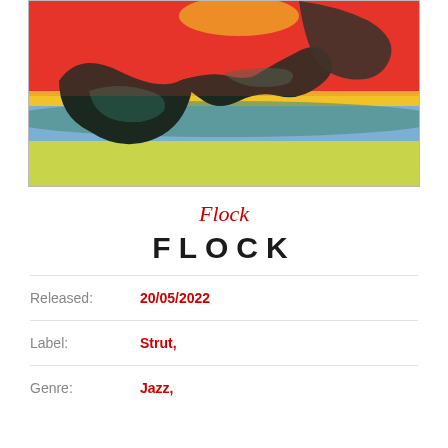[Figure (illustration): Abstract colorful album cover art with organic dark shapes resembling birds or figures against a vivid red, yellow, blue and green landscape background]
Flock
FLOCK
Released: 20/05/2022
Label: Strut,
Genre: Jazz,